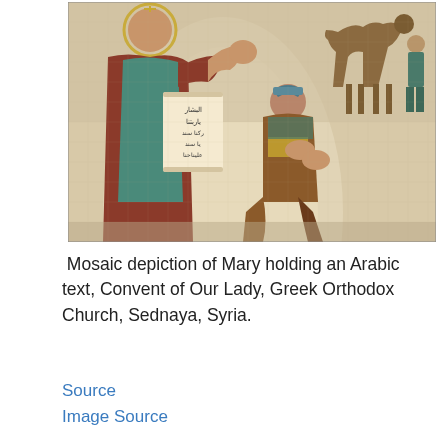[Figure (photo): A mosaic depicting Mary (the Virgin Mary) in robes holding a scroll with Arabic text. She stands gesturing with one hand while a kneeling figure prays to her. In the background, a figure leads a camel. The mosaic uses small colored tiles in reds, greens, golds, and beiges.]
Mosaic depiction of Mary holding an Arabic text, Convent of Our Lady, Greek Orthodox Church, Sednaya, Syria.
Source
Image Source